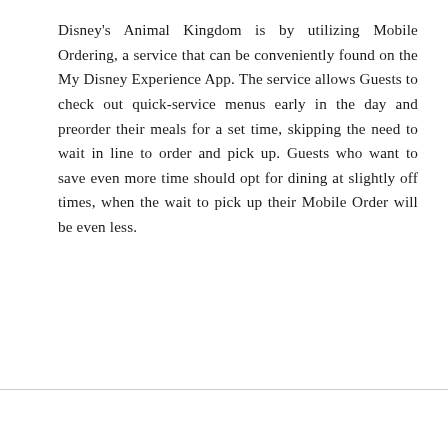Disney's Animal Kingdom is by utilizing Mobile Ordering, a service that can be conveniently found on the My Disney Experience App. The service allows Guests to check out quick-service menus early in the day and preorder their meals for a set time, skipping the need to wait in line to order and pick up. Guests who want to save even more time should opt for dining at slightly off times, when the wait to pick up their Mobile Order will be even less.